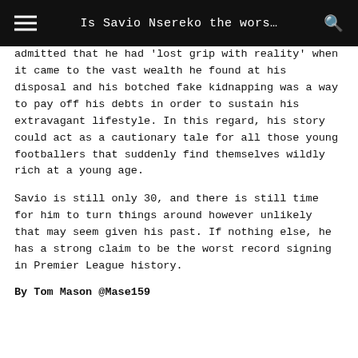Is Savio Nsereko the wors…
admitted that he had 'lost grip with reality' when it came to the vast wealth he found at his disposal and his botched fake kidnapping was a way to pay off his debts in order to sustain his extravagant lifestyle. In this regard, his story could act as a cautionary tale for all those young footballers that suddenly find themselves wildly rich at a young age.
Savio is still only 30, and there is still time for him to turn things around however unlikely that may seem given his past. If nothing else, he has a strong claim to be the worst record signing in Premier League history.
By Tom Mason @Mase159